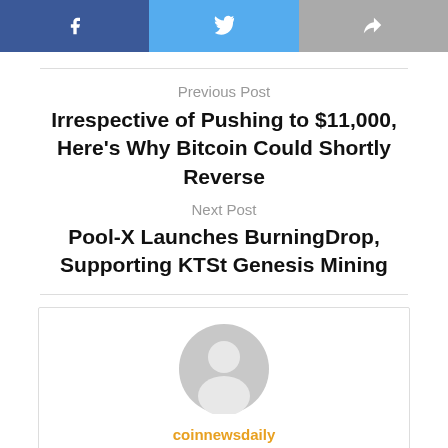[Figure (other): Social share buttons: Facebook (blue), Twitter (light blue), Forward/Share (gray)]
Previous Post
Irrespective of Pushing to $11,000, Here’s Why Bitcoin Could Shortly Reverse
Next Post
Pool-X Launches BurningDrop, Supporting KTSt Genesis Mining
[Figure (illustration): Author avatar placeholder: gray silhouette of a person inside a circle]
coinnewsdaily